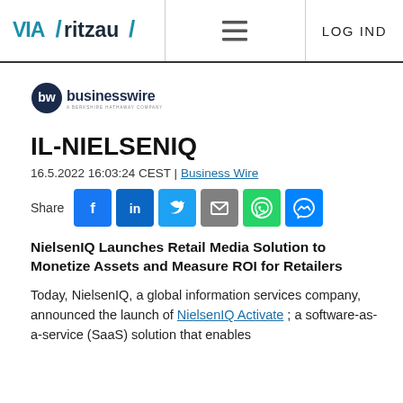VIA/ritzau/ | LOG IND
[Figure (logo): Business Wire logo — a Berkshire Hathaway company]
IL-NIELSENIQ
16.5.2022 16:03:24 CEST | Business Wire
[Figure (infographic): Share buttons: Facebook, LinkedIn, Twitter, Email, WhatsApp, Messenger]
NielsenIQ Launches Retail Media Solution to Monetize Assets and Measure ROI for Retailers
Today, NielsenIQ, a global information services company, announced the launch of NielsenIQ Activate ; a software-as-a-service (SaaS) solution that enables